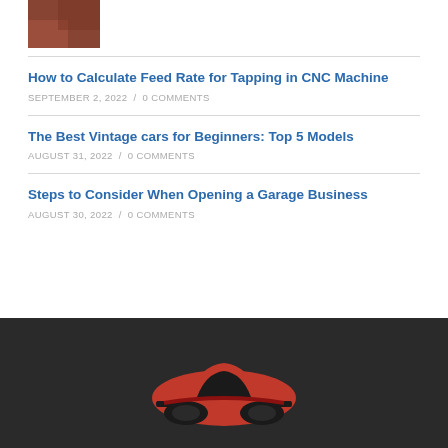[Figure (photo): Small thumbnail image of a person or machinery, partially visible at top]
How to Calculate Feed Rate for Tapping in CNC Machine
SEPTEMBER 2, 2022 / 0 COMMENTS
The Best Vintage cars for Beginners: Top 5 Models
AUGUST 31, 2022 / 0 COMMENTS
Steps to Consider When Opening a Garage Business
AUGUST 30, 2022 / 0 COMMENTS
[Figure (logo): Red sports car logo/icon on dark background in footer]